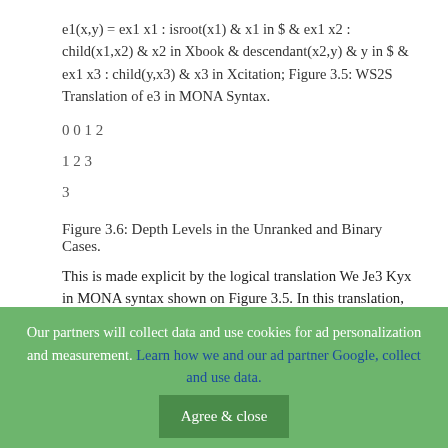e1(x,y) = ex1 x1 : isroot(x1) & x1 in $ & ex1 x2 : child(x1,x2) & x2 in Xbook & descendant(x2,y) & y in $ & ex1 x3 : child(y,x3) & x3 in Xcitation; Figure 3.5: WS2S Translation of e3 in MONA Syntax.
0 0 1 2
1 2 3
3
Figure 3.6: Depth Levels in the Unranked and Binary Cases.
This is made explicit by the logical translation We Je3 Kyx in MONA syntax shown on Figure 3.5. In this translation, x1, x2 and x3 denote the respective positions of the root node, a “book” child, and a “citation” child of the selected position y. These variables actually only range over a particular set of positions in the tree. By definition, the root can only appear at depth level 0, the “book” element can only occur at level 1 and its